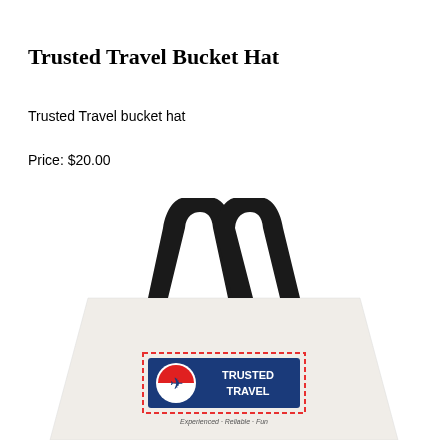Trusted Travel Bucket Hat
Trusted Travel bucket hat
Price: $20.00
[Figure (photo): A white tote bag with black handles featuring the Trusted Travel logo (blue background with airplane icon and text 'TRUSTED TRAVEL') and text 'Experienced · Reliable · Fun' at the bottom.]